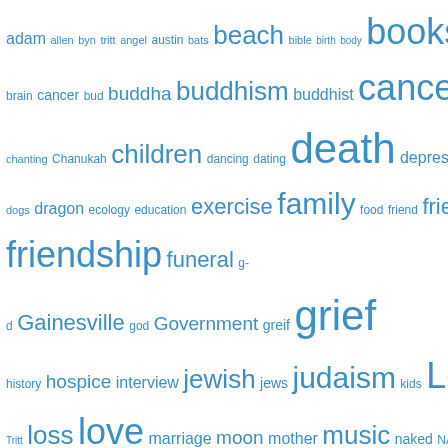[Figure (other): Tag cloud with words of varying sizes in blue, representing topics from a blog or website. Larger words include: books, death, grief, friendship, love, poetry, romance, sex, Suicide, soul, spouse, wife, tritt, teaching. Smaller words include: brain, cancer, buddha, buddhism, children, family, friends, funeral, Gainesville, jewish, judaism, Lee, loss, music, nature, poem, poems, pagan, relationships, religion, shamanism.]